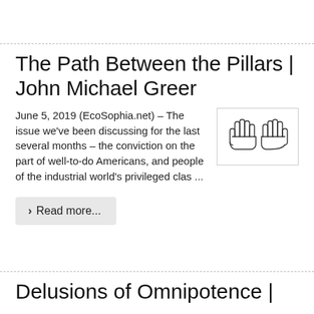The Path Between the Pillars | John Michael Greer
June 5, 2019 (EcoSophia.net) – The issue we've been discussing for the last several months – the conviction on the part of well-to-do Americans, and people of the industrial world's privileged clas ...
[Figure (illustration): Two hand outlines (open palms facing forward) drawn in simple line art style, side by side, inside a rectangular border.]
Read more...
Delusions of Omnipotence |